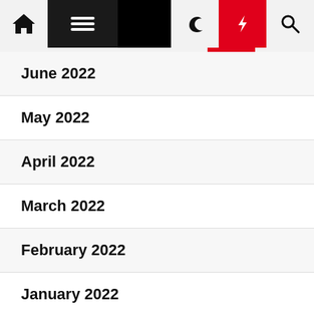Navigation bar with home, menu, moon/dark mode, lightning/breaking news, and search icons
June 2022
May 2022
April 2022
March 2022
February 2022
January 2022
December 2021
November 2021
October 2021